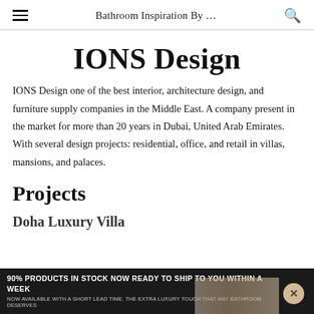Bathroom Inspiration By …
IONS Design
IONS Design one of the best interior, architecture design, and furniture supply companies in the Middle East. A company present in the market for more than 20 years in Dubai, United Arab Emirates. With several design projects: residential, office, and retail in villas, mansions, and palaces.
Projects
Doha Luxury Villa
90% PRODUCTS IN STOCK NOW READY TO SHIP TO YOU WITHIN A WEEK
NOW AVAILABLE WITH A SHORT LEAD TIME. THE EXTRA LUXURY TOUCH THAT ANY BATHROOM DESERVES